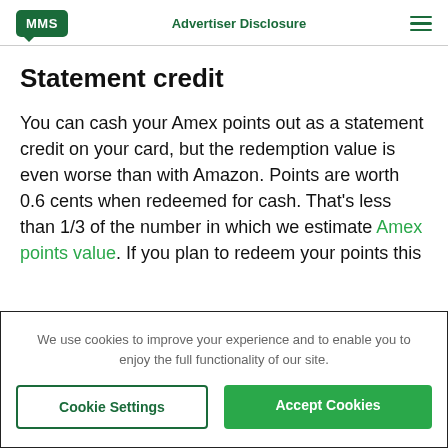MMS | Advertiser Disclosure
Statement credit
You can cash your Amex points out as a statement credit on your card, but the redemption value is even worse than with Amazon. Points are worth 0.6 cents when redeemed for cash. That's less than 1/3 of the number in which we estimate Amex points value. If you plan to redeem your points this
We use cookies to improve your experience and to enable you to enjoy the full functionality of our site.
Cookie Settings | Accept Cookies